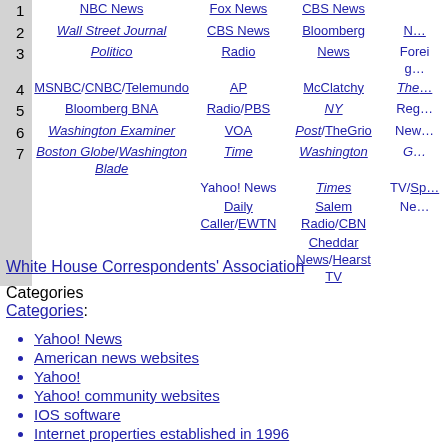| Rank | Col1 | Col2 | Col3 | Col4 |
| --- | --- | --- | --- | --- |
| 1 | NBC News | Fox News | CBS News |  |
| 2 | Wall Street Journal | CBS News | Bloomberg | N… |
| 3 | Politico | Radio | News | Foreign… |
| 4 | MSNBC/CNBC/Telemundo | AP | McClatchy | The… |
| 5 | Bloomberg BNA | Radio/PBS | NY | Reg… |
| 6 | Washington Examiner | VOA | Post/TheGrio | New… |
| 7 | Boston Globe/Washington Blade | Time | Washington | G… |
|  |  | Yahoo! News | Times | TV/Sp… |
|  |  | Daily Caller/EWTN | Salem Radio/CBN | Ne… |
|  |  |  | Cheddar News/Hearst TV |  |
White House Correspondents' Association
Categories
Categories:
Yahoo! News
American news websites
Yahoo!
Yahoo! community websites
IOS software
Internet properties established in 1996